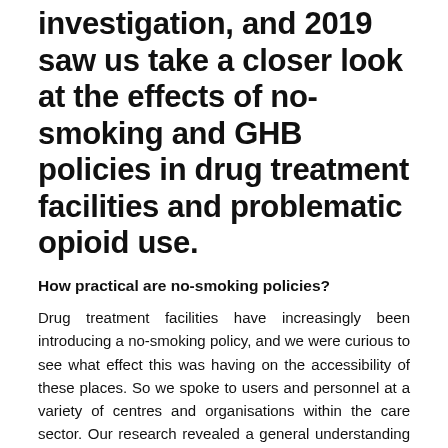investigation, and 2019 saw us take a closer look at the effects of no-smoking and GHB policies in drug treatment facilities and problematic opioid use.
How practical are no-smoking policies?
Drug treatment facilities have increasingly been introducing a no-smoking policy, and we were curious to see what effect this was having on the accessibility of these places. So we spoke to users and personnel at a variety of centres and organisations within the care sector. Our research revealed a general understanding of the reasons for implementing this policy, but also mixed results concerning its enforcement. For instance, we found that penalties (such as suspension or dismissal) for smoking were simply demotivating.